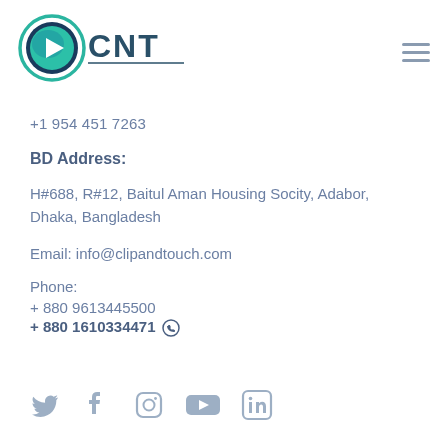[Figure (logo): CNT logo with a teal/green circular play button icon on the left and the text 'CNT' in dark teal capital letters on the right, with a horizontal underline beneath the text.]
+1 954 451 7263
BD Address:
H#688, R#12, Baitul Aman Housing Socity, Adabor, Dhaka, Bangladesh
Email: info@clipandtouch.com
Phone:
+ 880 9613445500
+ 880 1610334471 [WhatsApp icon]
[Figure (illustration): Row of five social media icons in light grey: Twitter (bird), Facebook (f), Instagram (camera), YouTube (play button rectangle), LinkedIn (in)]